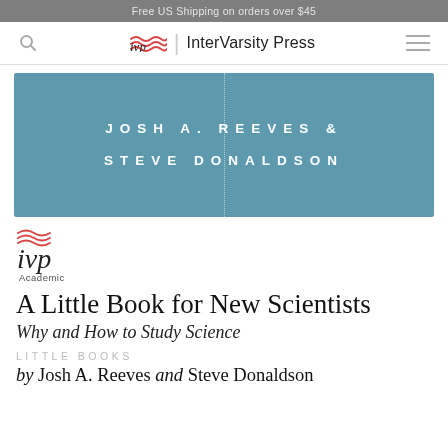Free US Shipping on orders over $45
[Figure (logo): InterVarsity Press navigation bar with search icon, IVP logo, and menu icon]
[Figure (illustration): Book cover image with teal/steel blue background showing authors JOSH A. REEVES & STEVE DONALDSON in white spaced capitals with a vertical dotted line]
[Figure (logo): IVP Academic logo with red wave lines above 'ivp' text and 'Academic' label below]
A Little Book for New Scientists
Why and How to Study Science
LITTLE BOOKS
by Josh A. Reeves and Steve Donaldson